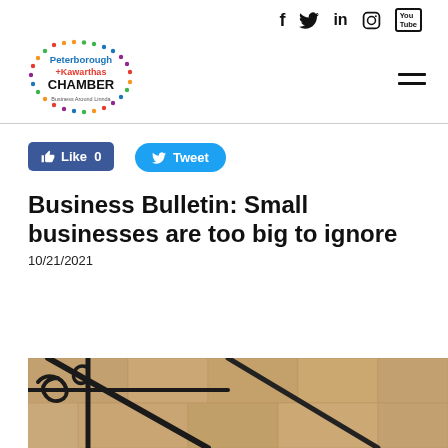Social icons: Facebook, Twitter, LinkedIn, Instagram, YouTube
[Figure (logo): Peterborough + Kawarthas Chamber of Commerce logo — circular dotted border with colorful dots, text inside reads Peterborough + Kawarthas CHAMBER]
Like 0 (Facebook Like button)
Tweet (Twitter Tweet button)
Business Bulletin: Small businesses are too big to ignore
10/21/2021
[Figure (photo): Photo of ornate black metal scrollwork/railing in front of a building with stone or brick facade — partial view from below]